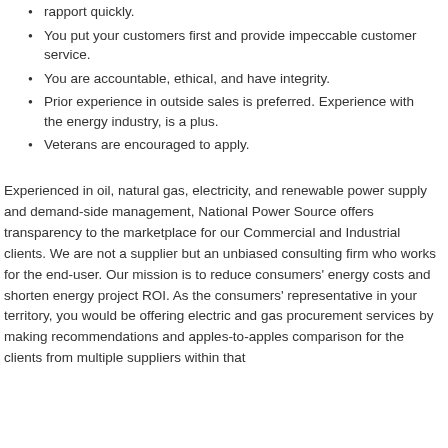rapport quickly.
You put your customers first and provide impeccable customer service.
You are accountable, ethical, and have integrity.
Prior experience in outside sales is preferred. Experience with the energy industry, is a plus.
Veterans are encouraged to apply.
Experienced in oil, natural gas, electricity, and renewable power supply and demand-side management, National Power Source offers transparency to the marketplace for our Commercial and Industrial clients. We are not a supplier but an unbiased consulting firm who works for the end-user. Our mission is to reduce consumers' energy costs and shorten energy project ROI. As the consumers' representative in your territory, you would be offering electric and gas procurement services by making recommendations and apples-to-apples comparison for the clients from multiple suppliers within that